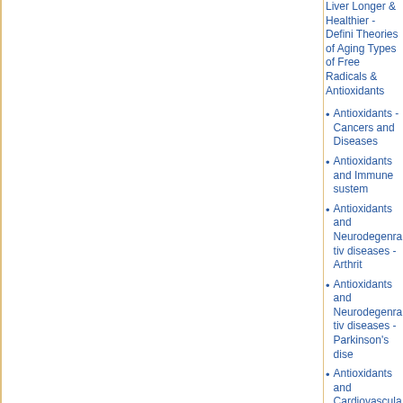Liver Longer & Healthier - Defining Theories of Aging Types of Free Radicals & Antioxidants
Antioxidants - Cancers and Diseases
Antioxidants and Immune sustem
Antioxidants and Neurodegenrative diseases - Arthritis
Antioxidants and Neurodegenrative diseases - Parkinson's disease
Antioxidants and Cardiovascular diseases
Antioxidants and Diabetes
Antioxidants and Kidney diseases